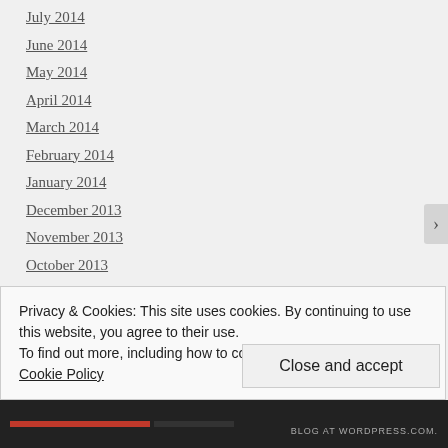July 2014
June 2014
May 2014
April 2014
March 2014
February 2014
January 2014
December 2013
November 2013
October 2013
September 2013
August 2013
July 2013
Privacy & Cookies: This site uses cookies. By continuing to use this website, you agree to their use.
To find out more, including how to control cookies, see here: Cookie Policy
Close and accept